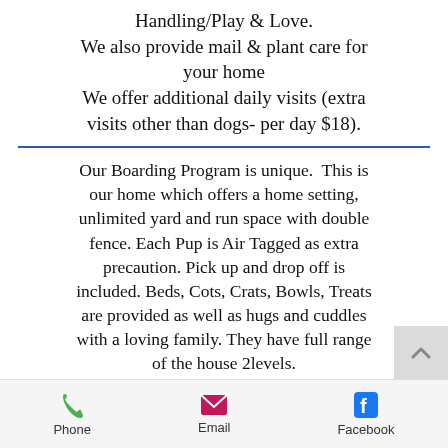Handling/Play & Love.
We also provide mail & plant care for your home
We offer additional daily visits (extra visits other than dogs- per day $18).
Our Boarding Program is unique.  This is our home which offers a home setting, unlimited yard and run space with double fence. Each Pup is Air Tagged as extra precaution. Pick up and drop off is included. Beds, Cots, Crats, Bowls, Treats are provided as well as hugs and cuddles with a loving family. They have full range of the house 2levels.
Add ON's to Boarding include nail trim and ear cleaning, daily cooked meals and Basic Bath with soothing Lavander, Oatmeal, Coconut or Shea Butter
Phone   Email   Facebook